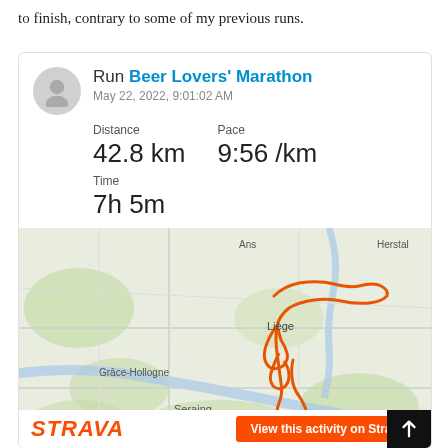to finish, contrary to some of my previous runs.
[Figure (screenshot): Strava activity card showing Run Beer Lovers' Marathon, May 22, 2022, 9:01:02 AM, Distance 42.8 km, Pace 9:56 /km, Time 7h 5m, with a map route around Liège, Belgium including Herstal, Ans, Grâce-Hollogne, Seraing, Flémalle, Chaudfontai areas. Orange route traced on the map. Strava logo and View this activity on Strava button at bottom.]